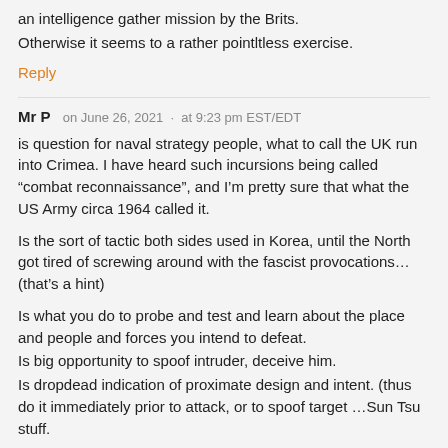an intelligence gather mission by the Brits.
Otherwise it seems to a rather pointltless exercise.
Reply
Mr P  on June 26, 2021  ·  at 9:23 pm EST/EDT
is question for naval strategy people, what to call the UK run into Crimea. I have heard such incursions being called "combat reconnaissance", and I'm pretty sure that what the US Army circa 1964 called it.
Is the sort of tactic both sides used in Korea, until the North got tired of screwing around with the fascist provocations… (that's a hint)
Is what you do to probe and test and learn about the place and people and forces you intend to defeat.
Is big opportunity to spoof intruder, deceive him.
Is dropdead indication of proximate design and intent. (thus do it immediately prior to attack, or to spoof target …Sun Tsu stuff.
It looks like Mercouris' view that there will be no war is getting